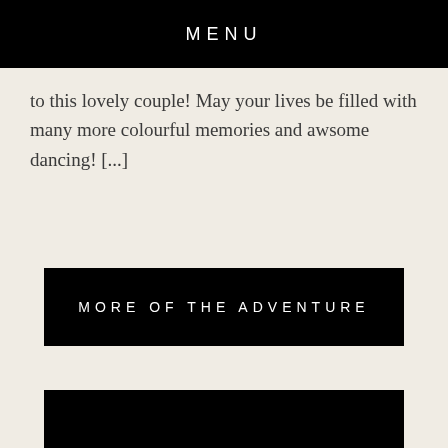MENU
to this lovely couple! May your lives be filled with many more colourful memories and awsome dancing! [...]
MORE OF THE ADVENTURE
[Figure (photo): Black rectangular image block at the bottom of the page]